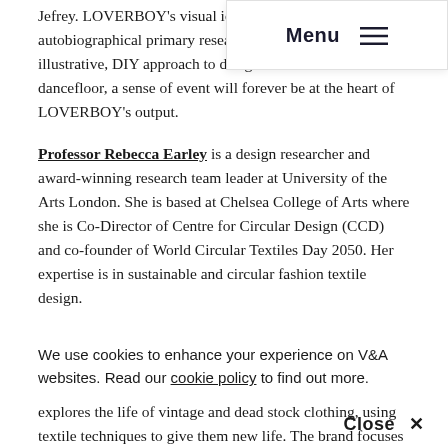Menu
Jefrey. LOVERBOY's visual identity is steeped in Jef autobiographical primary research, interpreted through illustrative, DIY approach to design. As a label born on the dancefloor, a sense of event will forever be at the heart of LOVERBOY's output.
Professor Rebecca Earley is a design researcher and award-winning research team leader at University of the Arts London. She is based at Chelsea College of Arts where she is Co-Director of Centre for Circular Design (CCD) and co-founder of World Circular Textiles Day 2050. Her expertise is in sustainable and circular fashion textile design.
Priya Ahluwalia launched her namesake brand, Ahluwalia, in 2018. Through her brand, Priya combines elements of her dual Indian-Nigerian heritage and London roots and explores the life of vintage and dead stock clothing, using textile techniques to give them new life. The brand focuses on creating unique forward-thinking
We use cookies to enhance your experience on V&A websites. Read our cookie policy to find out more.
Close ×